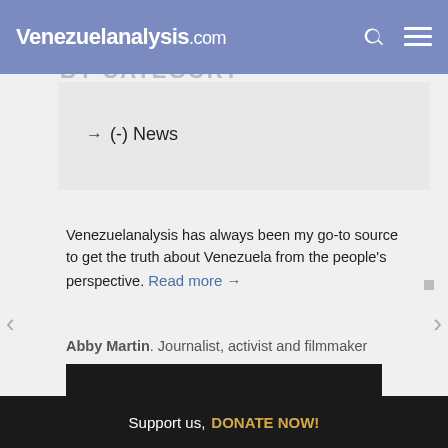Venezuelanalysis.com
→ (-) News
Venezuelanalysis has always been my go-to source to get the truth about Venezuela from the people's perspective. Read more →
Abby Martin. Journalist, activist and filmmaker
Support us DONATE NOW!
Support us, DONATE NOW!